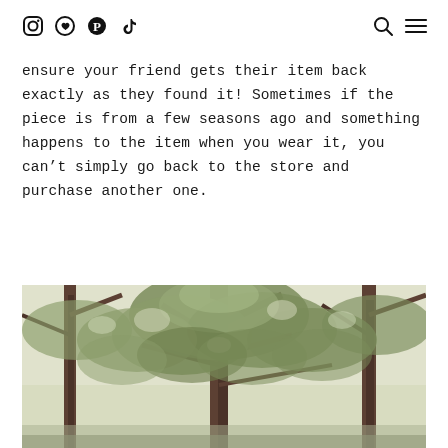Social media icons (Instagram, heart/circle, Pinterest, TikTok) on the left; search and menu icons on the right
ensure your friend gets their item back exactly as they found it! Sometimes if the piece is from a few seasons ago and something happens to the item when you wear it, you can't simply go back to the store and purchase another one.
[Figure (photo): Outdoor photo of trees with green leafy canopy and branches, soft natural light, muted warm tones]